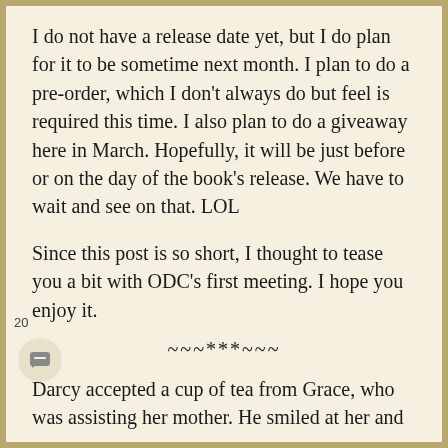I do not have a release date yet, but I do plan for it to be sometime next month. I plan to do a pre-order, which I don't always do but feel is required this time. I also plan to do a giveaway here in March. Hopefully, it will be just before or on the day of the book's release. We have to wait and see on that. LOL
Since this post is so short, I thought to tease you a bit with ODC's first meeting. I hope you enjoy it.
~~~***~~~
Darcy accepted a cup of tea from Grace, who was assisting her mother. He smiled at her and nodded, but did not speak. His cousin returned to Theodosia's side, and he began to examine the other ladies. On one side of the woman identified as